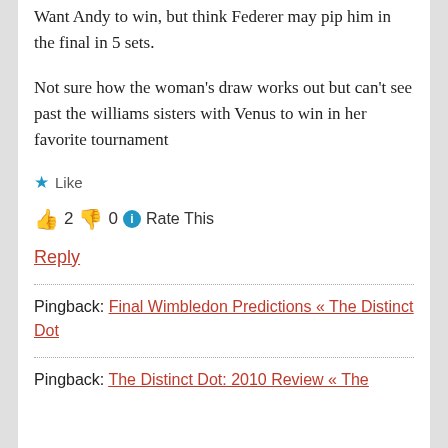Want Andy to win, but think Federer may pip him in the final in 5 sets.
Not sure how the woman's draw works out but can't see past the williams sisters with Venus to win in her favorite tournament
★ Like
👍 2 👎 0 ℹ Rate This
Reply
Pingback: Final Wimbledon Predictions « The Distinct Dot
Pingback: The Distinct Dot: 2010 Review « The